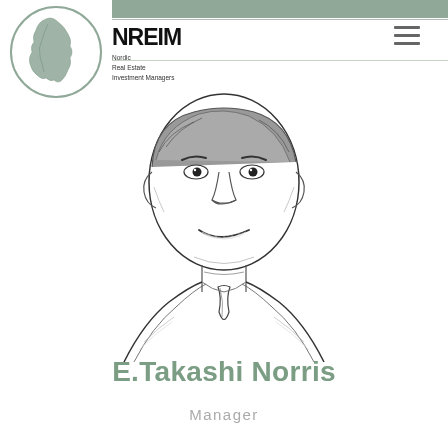[Figure (logo): NREIM Nordic Real Estate Investment Managers logo with circular map outline of Scandinavia and bold NREIM text with subtitle]
[Figure (illustration): Pencil sketch portrait illustration of a smiling man in suit and tie, facing forward]
E.Takashi Norris
Manager